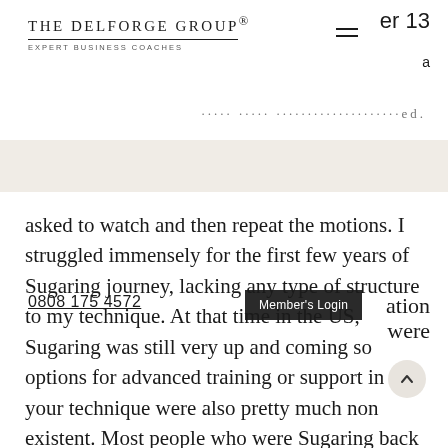THE DELFORGE GROUP® EXPERT BUSINESS COACHES
…ed.
ation were
0808 175 4572   Member's Login
asked to watch and then repeat the motions. I struggled immensely for the first few years of Sugaring journey, lacking any type of structure to my technique. At that time in the US, Sugaring was still very up and coming so options for advanced training or support in your technique were also pretty much non existent. Most people who were Sugaring back then were making up much of their technique and creating their own tricks for working with the sticky paste. Since then, there's